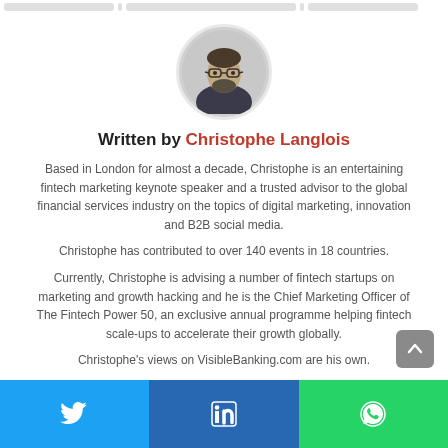[Figure (photo): Circular headshot photo of Christophe Langlois, a man with glasses and a beard, wearing a dark jacket]
Written by Christophe Langlois
Based in London for almost a decade, Christophe is an entertaining fintech marketing keynote speaker and a trusted advisor to the global financial services industry on the topics of digital marketing, innovation and B2B social media.
Christophe has contributed to over 140 events in 18 countries.
Currently, Christophe is advising a number of fintech startups on marketing and growth hacking and he is the Chief Marketing Officer of The Fintech Power 50, an exclusive annual programme helping fintech scale-ups to accelerate their growth globally.
Christophe's views on VisibleBanking.com are his own.
Twitter | LinkedIn | WhatsApp